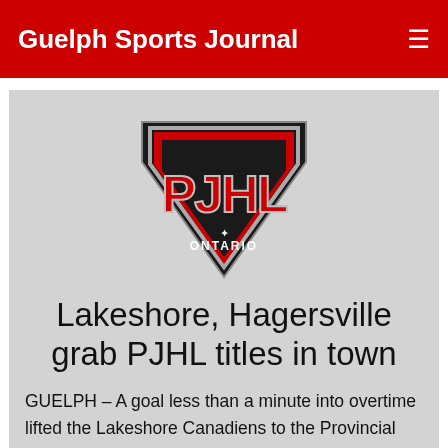Guelph Sports Journal
[Figure (logo): PJHL Ontario logo — black shield shape with red and silver PJHL lettering and ONTARIO text at the bottom]
Lakeshore, Hagersville grab PJHL titles in town
GUELPH – A goal less than a minute into overtime lifted the Lakeshore Canadiens to the Provincial Junior Hockey League championship Sunday at the Gryphon Centre.
Dylan Weston scored 41 seconds into the extra period to give lakeshore a 3-3 win on the...